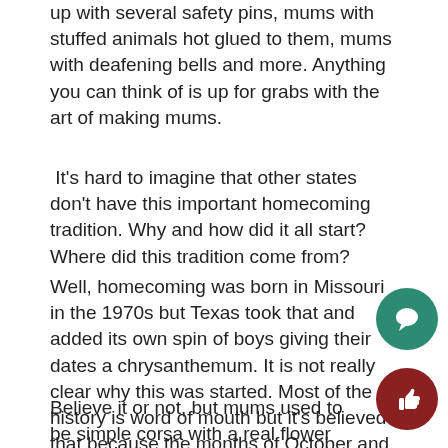up with several safety pins, mums with stuffed animals hot glued to them, mums with deafening bells and more. Anything you can think of is up for grabs with the art of making mums.
It's hard to imagine that other states don't have this important homecoming tradition. Why and how did it all start? Where did this tradition come from?
Well, homecoming was born in Missouri in the 1970s but Texas took that and added its own spin of boys giving their dates a chrysanthemum. It is not really clear why this was started. Most of the history is word of mouth but it's believed that because the months of October and November are the perfect season for chrysanthemum picking this tradition was born.
Believe it or not, but mums used to be simple corsa with a real flower at its center and a few ribbons but